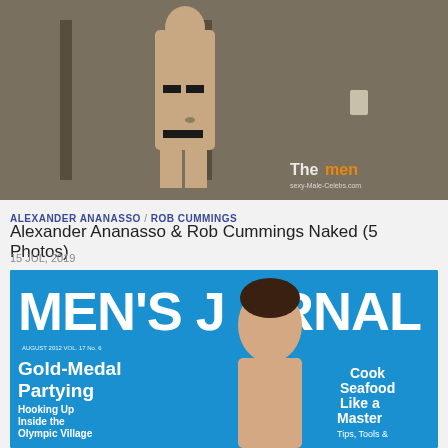[Figure (photo): Blurred/censored nude photo of a person standing in a room with a watermark reading 'The men' in bottom right corner]
ALEXANDER ANANASSO / ROB CUMMINGS
Alexander Ananasso & Rob Cummings Naked (5 Photos)
15 JUL, 2019
[Figure (photo): Men's Journal magazine cover featuring a shirtless male athlete with text: MEN'S JOURNAL, Gold-Medal Partying, Hooking Up Inside the Olympic Village, Cook Seafood Like a Master, Tips Tools &]